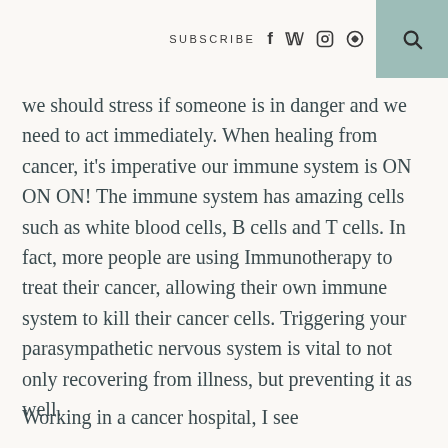SUBSCRIBE  f  ♦  ⊕  🔍
we should stress if someone is in danger and we need to act immediately. When healing from cancer, it's imperative our immune system is ON ON ON!  The immune system has amazing cells such as white blood cells, B cells and T cells.  In fact, more people are using Immunotherapy to treat their cancer, allowing their own immune system to kill their cancer cells. Triggering your parasympathetic nervous system is vital to not only recovering from illness, but preventing it as well.
Working in a cancer hospital, I see